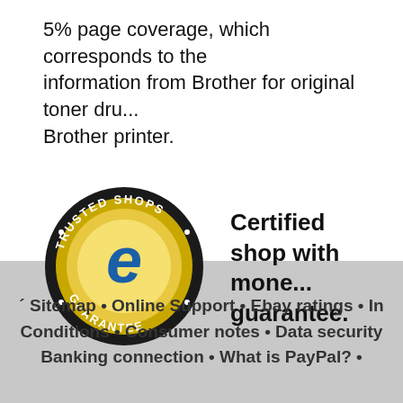5% page coverage, which corresponds to the information from Brother for original toner drums Brother printer.
[Figure (logo): Trusted Shops Guarantee badge: circular black border with gold inner ring, blue stylized 'e' letter in center, text 'TRUSTED SHOPS' at top and 'GUARANTEE' at bottom]
Certified shop with money-back guarantee.
´ Sitemap • Online Support • Ebay ratings • In Conditions • Consumer notes • Data security Banking connection • What is PayPal? •